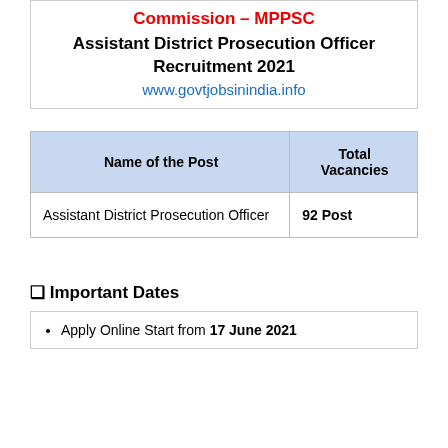Commission – MPPSC
Assistant District Prosecution Officer Recruitment 2021
www.govtjobsinindia.info
| Name of the Post | Total Vacancies |
| --- | --- |
| Assistant District Prosecution Officer | 92 Post |
❑ Important Dates
Apply Online Start from 17 June 2021